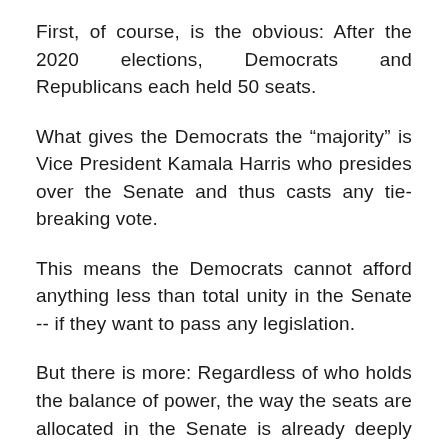First, of course, is the obvious: After the 2020 elections, Democrats and Republicans each held 50 seats.
What gives the Democrats the “majority” is Vice President Kamala Harris who presides over the Senate and thus casts any tie-breaking vote.
This means the Democrats cannot afford anything less than total unity in the Senate -- if they want to pass any legislation.
But there is more: Regardless of who holds the balance of power, the way the seats are allocated in the Senate is already deeply inequitable.